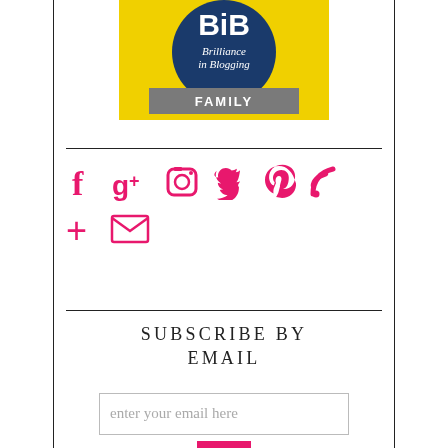[Figure (logo): BiB Brilliance in Blogging FAMILY badge — yellow background with blue circular logo and grey banner reading FAMILY]
[Figure (infographic): Row of pink social media icons: Facebook (f), Google+ (g+), Instagram (camera), Twitter (bird), Pinterest (p), RSS (wifi symbol), plus sign (+), envelope/email icon]
SUBSCRIBE BY EMAIL
enter your email here
OK